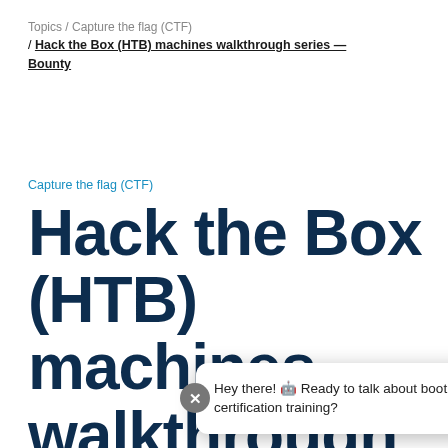Topics / Capture the flag (CTF)
/ Hack the Box (HTB) machines walkthrough series — Bounty
Capture the flag (CTF)
Hack the Box (HTB) machines walkthrough series